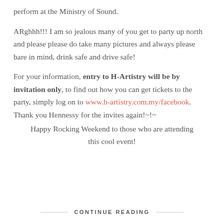perform at the Ministry of Sound.
ARghhh!!! I am so jealous many of you get to party up north and please please do take many pictures and always please bare in mind, drink safe and drive safe!
For your information, entry to H-Artistry will be by invitation only, to find out how you can get tickets to the party, simply log on to www.h-artistry.com.my/facebook. Thank you Hennessy for the invites again!~!~ Happy Rocking Weekend to those who are attending this cool event!
CONTINUE READING